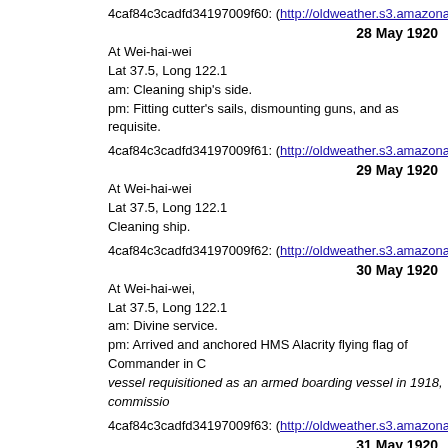4caf84c3cadfd34197009f60: (http://oldweather.s3.amazonaws.com/A...)
28 May 1920
At Wei-hai-wei
Lat 37.5, Long 122.1
am: Cleaning ship's side.
pm: Fitting cutter's sails, dismounting guns, and as requisite.
4caf84c3cadfd34197009f61: (http://oldweather.s3.amazonaws.com/A...)
29 May 1920
At Wei-hai-wei
Lat 37.5, Long 122.1
Cleaning ship.
4caf84c3cadfd34197009f62: (http://oldweather.s3.amazonaws.com/A...)
30 May 1920
At Wei-hai-wei,
Lat 37.5, Long 122.1
am: Divine service.
pm: Arrived and anchored HMS Alacrity flying flag of Commander in C...
vessel requisitioned as an armed boarding vessel in 1918, commissio...
4caf84c3cadfd34197009f63: (http://oldweather.s3.amazonaws.com/A...)
31 May 1920
At Wei-hai-wei
Lat 37.5, Long 122.1